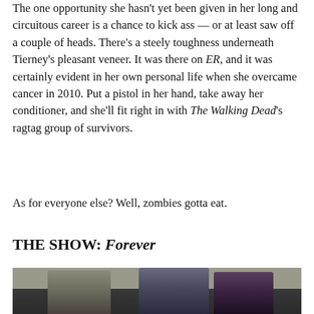The one opportunity she hasn't yet been given in her long and circuitous career is a chance to kick ass — or at least saw off a couple of heads. There's a steely toughness underneath Tierney's pleasant veneer. It was there on ER, and it was certainly evident in her own personal life when she overcame cancer in 2010. Put a pistol in her hand, take away her conditioner, and she'll fit right in with The Walking Dead's ragtag group of survivors.
As for everyone else? Well, zombies gotta eat.
THE SHOW: Forever
[Figure (photo): Three actors standing together — an older man on the left in a grey blazer, a tall man in the center in a dark suit with scarf, and a woman on the right in a purple top, against a concrete wall background.]